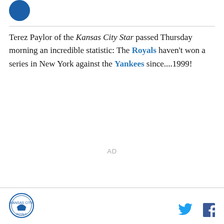[Figure (logo): Blue circular avatar/logo in the top left corner]
Terez Paylor of the Kansas City Star passed Thursday morning an incredible statistic: The Royals haven't won a series in New York against the Yankees since....1999!
AD
Kansas City Royals logo | Twitter icon | Facebook icon